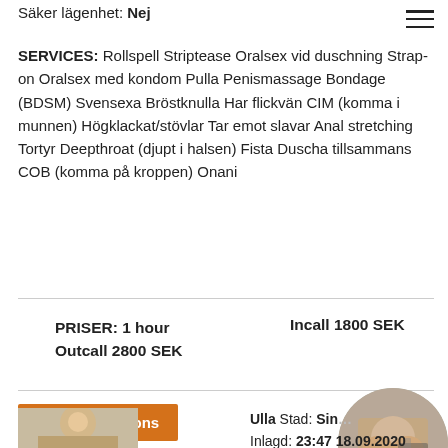Säker lägenhet: Nej
SERVICES: Rollspell Striptease Oralsex vid duschning Strap-on Oralsex med kondom Pulla Penismassage Bondage (BDSM) Svensexa Bröstknulla Har flickvän CIM (komma i munnen) Högklackat/stövlar Tar emot slavar Anal stretching Tortyr Deepthroat (djupt i halsen) Fista Duscha tillsammans COB (komma på kroppen) Onani
PRISER: 1 hour   Incall 1800 SEK
Outcall 2800 SEK
Prioritetsannons
[Figure (photo): Circular cropped photo showing a person's torso]
[Figure (photo): Small photo showing a person with blonde hair]
Ulla Stad: Sin... Inlagd: 23:47 18.09.2020